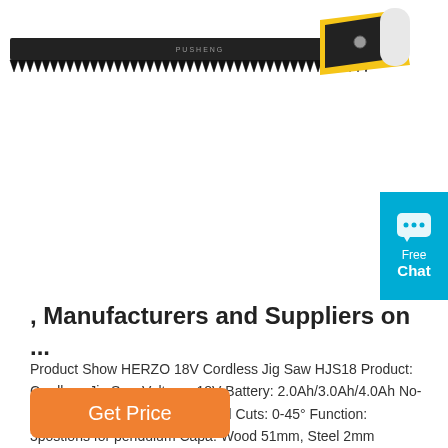[Figure (photo): A hand saw with a black blade and yellow/black/white handle, shown diagonally against a white background. Brand appears to be PUSHENG/HERZO.]
[Figure (infographic): Teal/cyan chat badge with speech bubble icon, reading 'Free Chat']
, Manufacturers and Suppliers on ...
Product Show HERZO 18V Cordless Jig Saw HJS18 Product: Cordless Jig Saw Voltage: 18V Battery: 2.0Ah/3.0Ah/4.0Ah No-load speed: 0-2500SPM Slanted Cuts: 0-45° Function: 3postions for pendulum Capa: Wood 51mm, Steel 2mm Packing Way: color box+outer carton Carton Size: 42.5x28x25 cm/5pcs G.W./N.W. :12.5/11.5kgs Qty Profile Our Service
Get Price